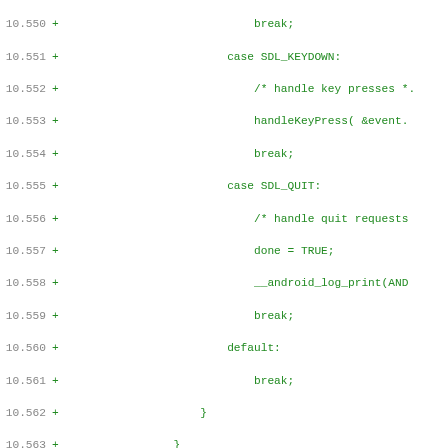[Figure (screenshot): Code diff showing lines 10.550 through 11.4, with green added lines (prefixed with +) showing C/SDL code and diff headers for /dev/null and b/android/project/local.properties]